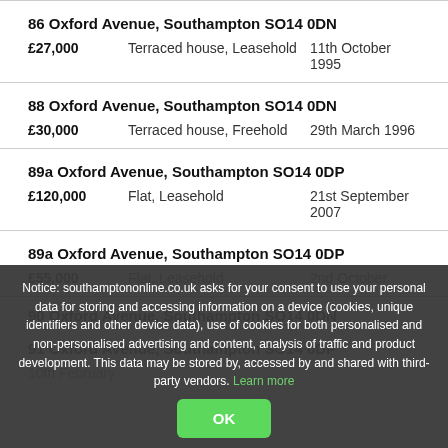86 Oxford Avenue, Southampton SO14 0DN
£27,000   Terraced house, Leasehold   11th October 1995
88 Oxford Avenue, Southampton SO14 0DN
£30,000   Terraced house, Freehold   29th March 1996
89a Oxford Avenue, Southampton SO14 0DP
£120,000   Flat, Leasehold   21st September 2007
89a Oxford Avenue, Southampton SO14 0DP
£55,000   Flat, Leasehold   2nd October
90 Oxford Avenue, Southampton SO14 0DN
91 Oxford Avenue, Southampton SO14 0DP
10th February
Notice: southamptononline.co.uk asks for your consent to use your personal data for storing and accessing information on a device (cookies, unique identifiers and other device data), use of cookies for both personalised and non-personalised advertising and content, analysis of traffic and product development. This data may be stored by, accessed by and shared with third-party vendors. Learn more